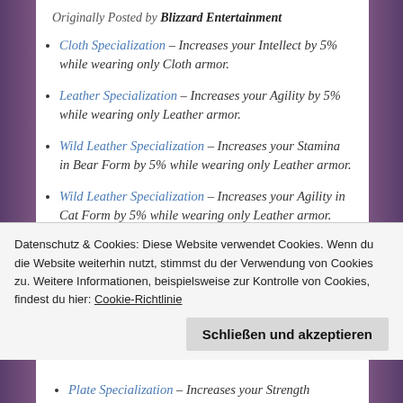Originally Posted by Blizzard Entertainment
Cloth Specialization – Increases your Intellect by 5% while wearing only Cloth armor.
Leather Specialization – Increases your Agility by 5% while wearing only Leather armor.
Wild Leather Specialization – Increases your Stamina in Bear Form by 5% while wearing only Leather armor.
Wild Leather Specialization – Increases your Agility in Cat Form by 5% while wearing only Leather armor.
Datenschutz & Cookies: Diese Website verwendet Cookies. Wenn du die Website weiterhin nutzt, stimmst du der Verwendung von Cookies zu. Weitere Informationen, beispielsweise zur Kontrolle von Cookies, findest du hier: Cookie-Richtlinie
Schließen und akzeptieren
Plate Specialization – Increases your Strength